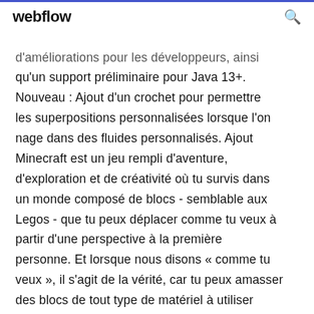webflow
d'améliorations pour les développeurs, ainsi qu'un support préliminaire pour Java 13+. Nouveau : Ajout d'un crochet pour permettre les superpositions personnalisées lorsque l'on nage dans des fluides personnalisés. Ajout Minecraft est un jeu rempli d'aventure, d'exploration et de créativité où tu survis dans un monde composé de blocs - semblable aux Legos - que tu peux déplacer comme tu veux à partir d'une perspective à la première personne. Et lorsque nous disons « comme tu veux », il s'agit de la vérité, car tu peux amasser des blocs de tout type de matériel à utiliser plus tard pour la façon